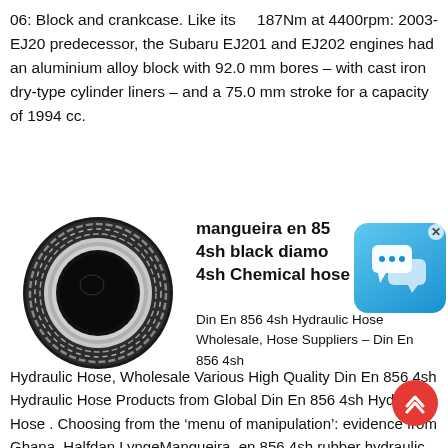187Nm at 4400rpm: 2003-06: Block and crankcase. Like its EJ20 predecessor, the Subaru EJ201 and EJ202 engines had an aluminium alloy block with 92.0 mm bores – with cast iron dry-type cylinder liners – and a 75.0 mm stroke for a capacity of 1994 cc.
[Figure (photo): Black hydraulic rubber hose end-on view showing spiral wire reinforcement and inner bore]
mangueira en 856 4sh black diamo 4sh Chemical hose
Din En 856 4sh Hydraulic Hose Wholesale, Hose Suppliers – Din En 856 4sh Hydraulic Hose, Wholesale Various High Quality Din En 856 4sh Hydraulic Hose Products from Global Din En 856 4sh Hydraulic Hose . Choosing from the ‘menu of manipulation’: evidence from Ghana. Halfdan LyngeMangueira. en 856 4sh rubber hydraulic hose Manufacturers, en 856 4sh . en 856 4sh ...